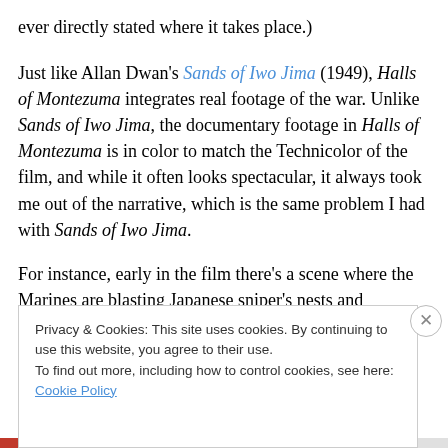ever directly stated where it takes place.)
Just like Allan Dwan's Sands of Iwo Jima (1949), Halls of Montezuma integrates real footage of the war. Unlike Sands of Iwo Jima, the documentary footage in Halls of Montezuma is in color to match the Technicolor of the film, and while it often looks spectacular, it always took me out of the narrative, which is the same problem I had with Sands of Iwo Jima.
For instance, early in the film there's a scene where the Marines are blasting Japanese sniper's nests and
Privacy & Cookies: This site uses cookies. By continuing to use this website, you agree to their use.
To find out more, including how to control cookies, see here: Cookie Policy
Close and accept